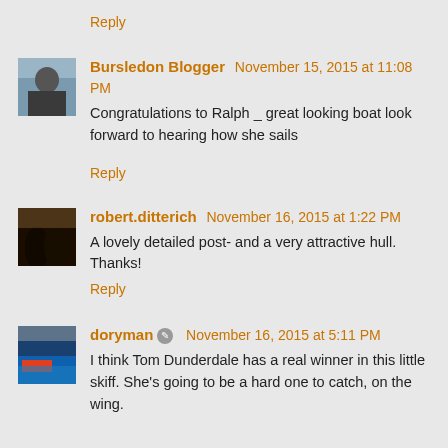Reply
Bursledon Blogger  November 15, 2015 at 11:08 PM
Congratulations to Ralph _ great looking boat look forward to hearing how she sails
Reply
robert.ditterich  November 16, 2015 at 1:22 PM
A lovely detailed post- and a very attractive hull. Thanks!
Reply
doryman  November 16, 2015 at 5:11 PM
I think Tom Dunderdale has a real winner in this little skiff. She's going to be a hard one to catch, on the wing.